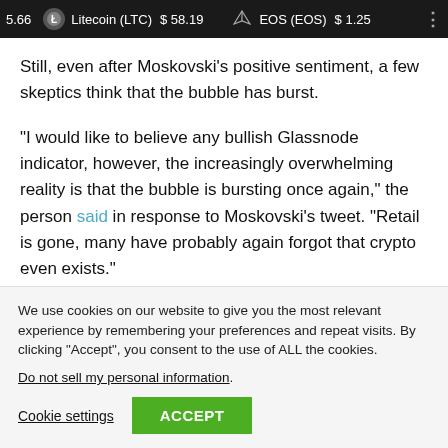5.66  Litecoin (LTC)  $ 58.19  EOS (EOS)  $ 1.25
Still, even after Moskovski's positive sentiment, a few skeptics think that the bubble has burst.
“I would like to believe any bullish Glassnode indicator, however, the increasingly overwhelming reality is that the bubble is bursting once again,” the person said in response to Moskovski's tweet. “Retail is gone, many have probably again forgot that crypto even exists.”
We use cookies on our website to give you the most relevant experience by remembering your preferences and repeat visits. By clicking “Accept”, you consent to the use of ALL the cookies.
Do not sell my personal information.
Cookie settings  ACCEPT